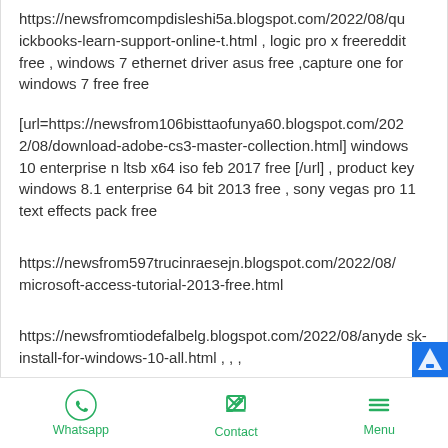https://newsfromcompdisleshi5a.blogspot.com/2022/08/quickbooks-learn-support-online-t.html , logic pro x freereddit free , windows 7 ethernet driver asus free ,capture one for windows 7 free free
[url=https://newsfrom106bisttaofunya60.blogspot.com/2022/08/download-adobe-cs3-master-collection.html] windows 10 enterprise n ltsb x64 iso feb 2017 free [/url] , product key windows 8.1 enterprise 64 bit 2013 free , sony vegas pro 11 text effects pack free
https://newsfrom597trucinraesejn.blogspot.com/2022/08/microsoft-access-tutorial-2013-free.html
https://newsfromtiodefalbelg.blogspot.com/2022/08/anydesk-install-for-windows-10-all.html , , ,
[url=https://newsfrom533acanagshie8.blogspot.com/2022/
Whatsapp   Contact   Menu